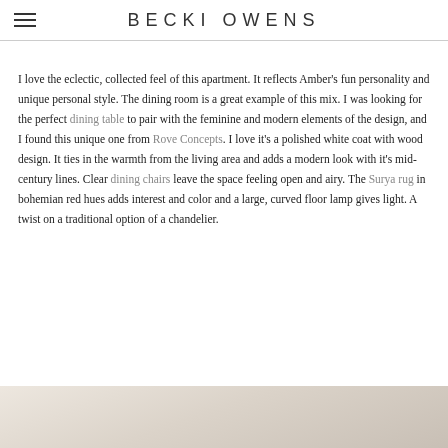BECKI OWENS
I love the eclectic, collected feel of this apartment. It reflects Amber's fun personality and unique personal style. The dining room is a great example of this mix. I was looking for the perfect dining table to pair with the feminine and modern elements of the design, and I found this unique one from Rove Concepts. I love it's a polished white coat with wood design. It ties in the warmth from the living area and adds a modern look with it's mid-century lines. Clear dining chairs leave the space feeling open and airy. The Surya rug in bohemian red hues adds interest and color and a large, curved floor lamp gives light. A twist on a traditional option of a chandelier.
[Figure (photo): Partial view of a dining room interior with light-colored surfaces, beige/cream tones]